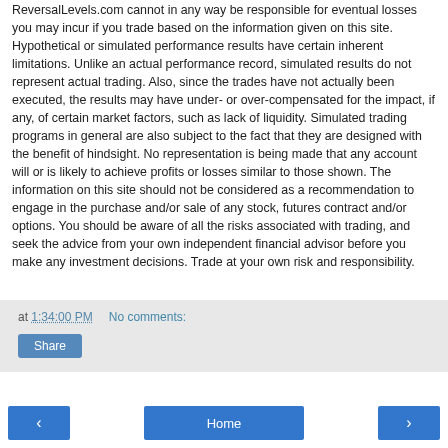ReversalLevels.com cannot in any way be responsible for eventual losses you may incur if you trade based on the information given on this site. Hypothetical or simulated performance results have certain inherent limitations. Unlike an actual performance record, simulated results do not represent actual trading. Also, since the trades have not actually been executed, the results may have under- or over-compensated for the impact, if any, of certain market factors, such as lack of liquidity. Simulated trading programs in general are also subject to the fact that they are designed with the benefit of hindsight. No representation is being made that any account will or is likely to achieve profits or losses similar to those shown. The information on this site should not be considered as a recommendation to engage in the purchase and/or sale of any stock, futures contract and/or options. You should be aware of all the risks associated with trading, and seek the advice from your own independent financial advisor before you make any investment decisions. Trade at your own risk and responsibility.
at 1:34:00 PM   No comments:
Share
‹  Home  ›